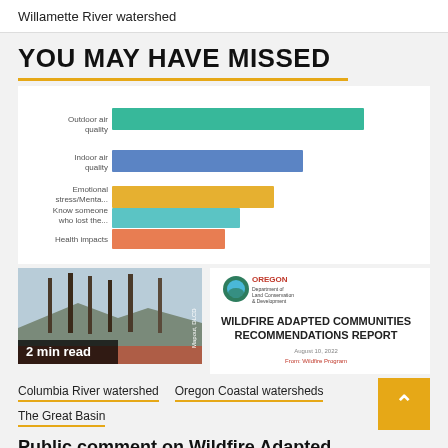Willamette River watershed
YOU MAY HAVE MISSED
[Figure (bar-chart): Wildfire concerns survey]
[Figure (photo): Photo of burnt trees in a forested area with mountains in background. Badge reads '2 min read'.]
[Figure (other): Oregon Department of Land Conservation and Development logo with text: WILDFIRE ADAPTED COMMUNITIES RECOMMENDATIONS REPORT]
Columbia River watershed
Oregon Coastal watersheds
The Great Basin
Public comment on Wildfire Adapted